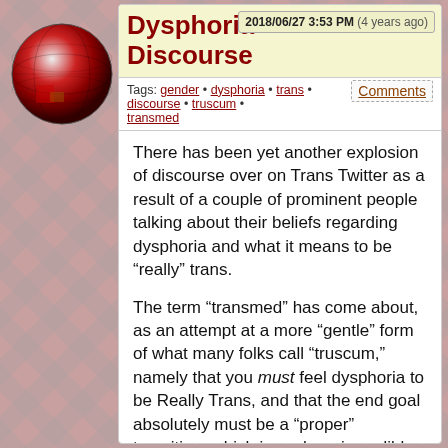Dysphoria Discourse
2018/06/27 3:53 PM (4 years ago)
Tags: gender • dysphoria • trans • discourse • truscum • transmed
Comments
There has been yet another explosion of discourse over on Trans Twitter as a result of a couple of prominent people talking about their beliefs regarding dysphoria and what it means to be “really” trans.
The term “transmed” has come about, as an attempt at a more “gentle” form of what many folks call “truscum,” namely that you must feel dysphoria to be Really Trans, and that the end goal absolutely must be a “proper” transition, which is such an incredibly reductive, prescriptive, and invalidating set of concepts that it does much more harm than good to people who are already having difficulty questioning themselves and need support and compassion to figure out where they stand and what they need.